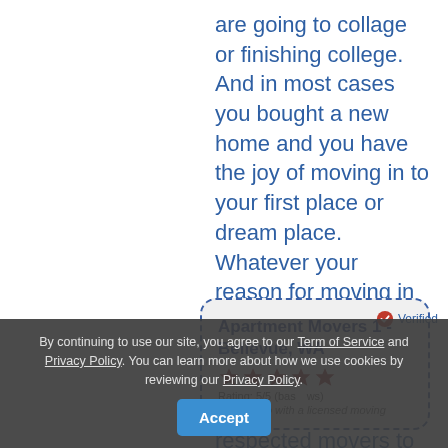are going to collage or finishing college. And in most cases you bought a new home and you have the joy of moving in to your first place or dream place. Whatever your reason for moving in 98004 VMoving is here to help you out. We like to provide local and well respected movers to our clients in the 98004 area.
[Figure (infographic): Card for 'Apartment Movers 1 - Bellevue, WA' with dashed blue border, verified badge, star rating icons, rating text '5/5 (based on reviews)', and review quote 'Always go with a licensed moving']
By continuing to use our site, you agree to our Term of Service and Privacy Policy. You can learn more about how we use cookies by reviewing our Privacy Policy.